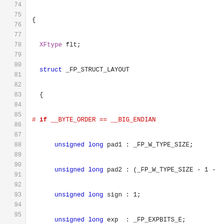Source code listing lines 74-95, C header file with floating point struct layout definitions including XFtype, _FP_STRUCT_LAYOUT, byte order conditionals, and bitfield members.